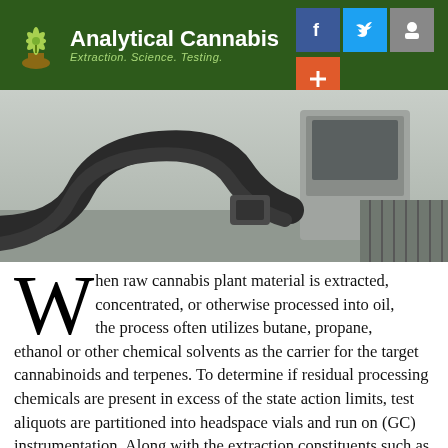Analytical Cannabis — Extraction. Science. Testing.
[Figure (photo): Laboratory equipment photo showing GC instrument tubing and autosampler tray on a bench]
When raw cannabis plant material is extracted, concentrated, or otherwise processed into oil, the process often utilizes butane, propane, ethanol or other chemical solvents as the carrier for the target cannabinoids and terpenes. To determine if residual processing chemicals are present in excess of the state action limits, test aliquots are partitioned into headspace vials and run on (GC) instrumentation. Along with the extraction constituents such as butane, this assay also screens for minute levels of contaminants that were present in the carrier solvent.